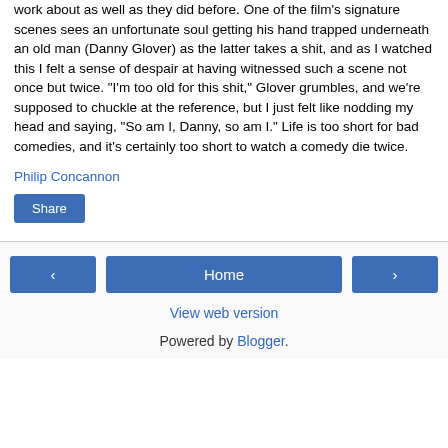work about as well as they did before. One of the film's signature scenes sees an unfortunate soul getting his hand trapped underneath an old man (Danny Glover) as the latter takes a shit, and as I watched this I felt a sense of despair at having witnessed such a scene not once but twice. "I'm too old for this shit," Glover grumbles, and we're supposed to chuckle at the reference, but I just felt like nodding my head and saying, "So am I, Danny, so am I." Life is too short for bad comedies, and it's certainly too short to watch a comedy die twice.
Philip Concannon
Share
‹  Home  ›  View web version  Powered by Blogger.